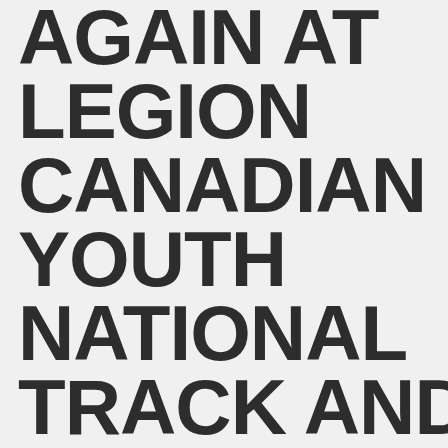AGAIN AT LEGION CANADIAN YOUTH NATIONAL TRACK AND FIELD CHAMPIONSHIPS